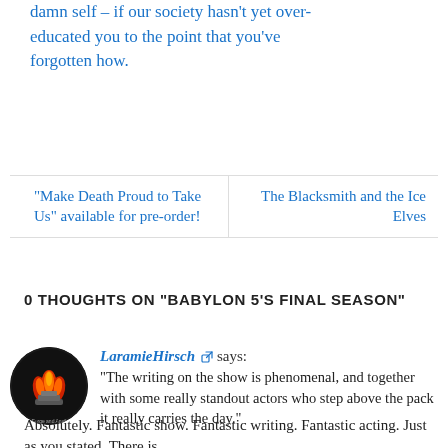damn self – if our society hasn't yet over-educated you to the point that you've forgotten how.
"Make Death Proud to Take Us" available for pre-order!
The Blacksmith and the Ice Elves
0 THOUGHTS ON "BABYLON 5'S FINAL SEASON"
LaramieHirsch says: "The writing on the show is phenomenal, and together with some really standout actors who step above the pack it really carries the day."
Absolutely. Fantastic show. Fantastic writing. Fantastic acting. Just as you stated. There is